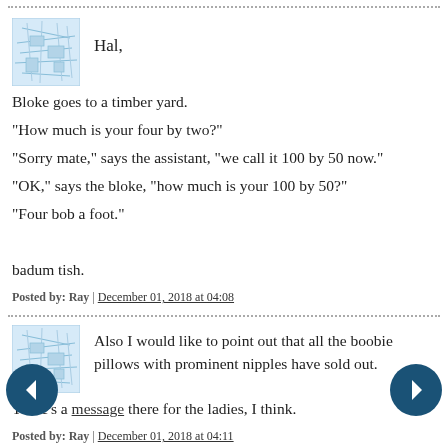Hal,

Bloke goes to a timber yard.
"How much is your four by two?"
"Sorry mate," says the assistant, "we call it 100 by 50 now."
"OK," says the bloke, "how much is your 100 by 50?"
"Four bob a foot."

badum tish.

Posted by: Ray | December 01, 2018 at 04:08
Also I would like to point out that all the boobie pillows with prominent nipples have sold out. There's a message there for the ladies, I think.

Posted by: Ray | December 01, 2018 at 04:11